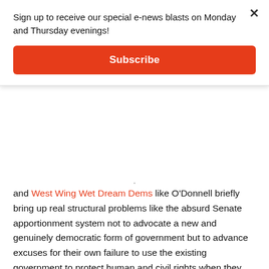Sign up to receive our special e-news blasts on Monday and Thursday evenings!
Subscribe
and West Wing Wet Dream Dems like O'Donnell briefly bring up real structural problems like the absurd Senate apportionment system not to advocate a new and genuinely democratic form of government but to advance excuses for their own failure to use the existing government to protect human and civil rights when they had the chance to do so – and for continuing to insist on their right to the benighted masses' votes, money, ears, and eyeballs atop the nation's hollow party and media outlets of hollow resistance and inauthentic opposition. Keep writing checks to the DNC and Planned Parenthood